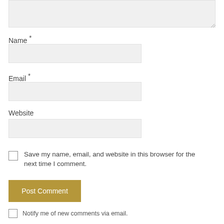[Figure (screenshot): Top portion of a comment form textarea field (light gray background, partially visible with resize handle at bottom-right)]
Name *
[Figure (screenshot): Name input field (light gray background, empty text input box)]
Email *
[Figure (screenshot): Email input field (light gray background, empty text input box)]
Website
[Figure (screenshot): Website input field (light gray background, empty text input box)]
Save my name, email, and website in this browser for the next time I comment.
Post Comment
Notify me of new comments via email.